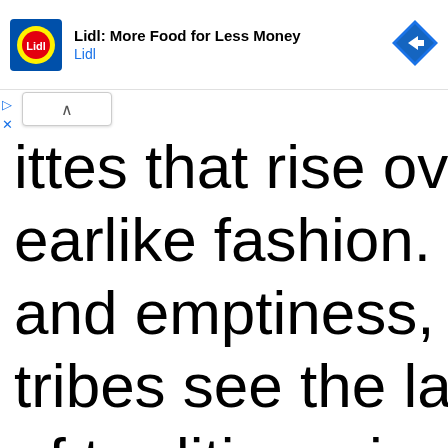[Figure (screenshot): Lidl advertisement banner with logo, text 'Lidl: More Food for Less Money / Lidl', and a blue navigation/direction diamond icon on the right.]
ittes that rise over the earlike fashion. Hikers p and emptiness, while Na tribes see the land as a of traditions, including hu storytelling, citing the sto ancient carvings on the r